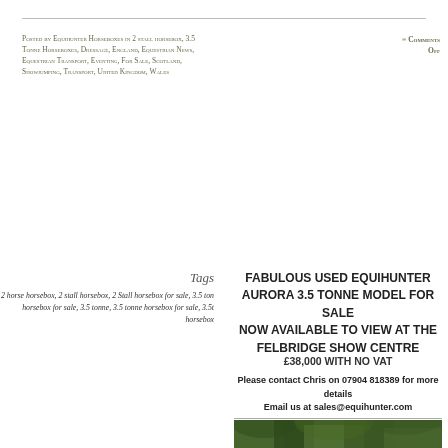Posted by Equihunter Horseboxes in 2 stall horsebox, 3.5 Tonne Horseboxes, Dressage, England, Equestrian News, Equestrian Transport, Eventing, For Sale, Scotland, Showjumping, Transport, United Kingdom, Wales
≡ Comments Off
FABULOUS USED EQUIHUNTER AURORA 3.5 TONNE MODEL FOR SALE NOW AVAILABLE TO VIEW AT THE FELBRIDGE SHOW CENTRE
£38,000 WITH NO VAT
Please contact Chris on 07904 818389 for more details
Email us at sales@equihunter.com
Tags
2 horse horsebox, 2 stall horsebox, 2 Stall horsebox for sale, 3.5 ton horsebox for sale, 3.5 tonne, 3.5 tonne horsebox for sale, 3.5t horsebox
[Figure (photo): Photo of a horsebox partially visible at the bottom of the page, surrounded by green trees/foliage]